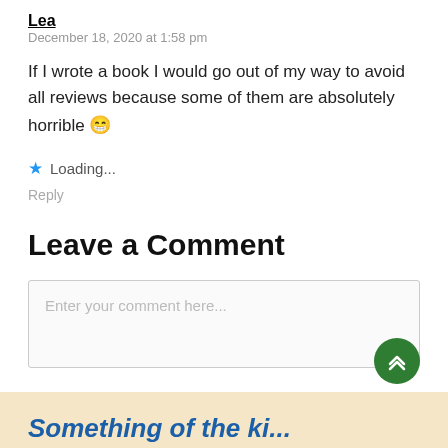Lea
December 18, 2020 at 1:58 pm
If I wrote a book I would go out of my way to avoid all reviews because some of them are absolutely horrible 😁
★ Loading...
Reply
Leave a Comment
Enter your comment here...
[Figure (other): Scroll to top green circular button with double up arrows]
Something of the ki...